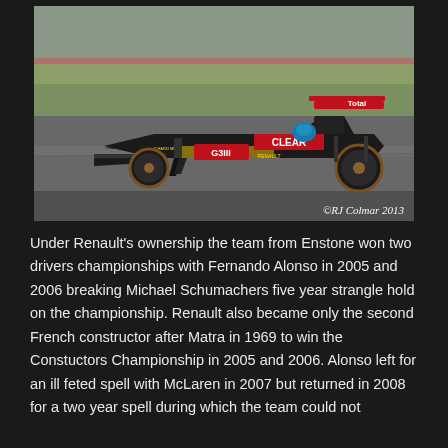[Figure (photo): A black and gold Lotus Formula 1 car with CLEAR, Renault, Total, and Genii sponsors racing on a circuit track. Photo watermarked ©RJ Colmar 2013.]
©RJ Colmar 2013
Under Renault's ownership the team from Enstone won two drivers championships with Fernando Alonso in 2005 and 2006 breaking Michael Schumachers five year strangle hold on the championship. Renault also became only the second French constructor after Matra in 1969 to win the Constuctors Championship in 2005 and 2006. Alonso left for an ill feted spell with McLaren in 2007 but returned in 2008 for a two year spell during which the team could not